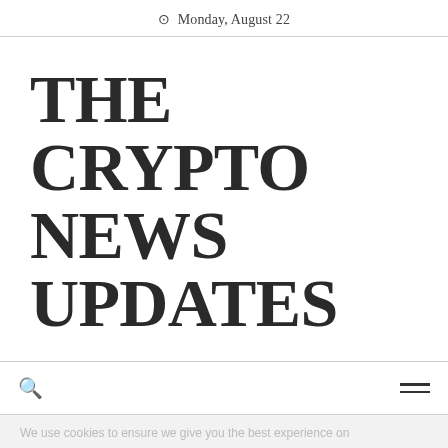Monday, August 22
THE CRYPTO NEWS UPDATES
We use cookies to ensure we give you the best experience on
Study: 0.01% of Bitcoin Holders Control 27% of